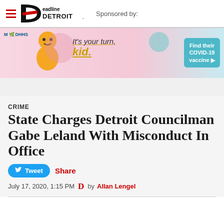Deadline Detroit — Sponsored by:
[Figure (infographic): MDHHS advertisement banner: baby smiling with text 'It's your turn, kid.' and button 'Find their COVID-19 vaccine']
CRIME
State Charges Detroit Councilman Gabe Leland With Misconduct In Office
Tweet  Share
July 17, 2020, 1:15 PM  by  Allan Lengel